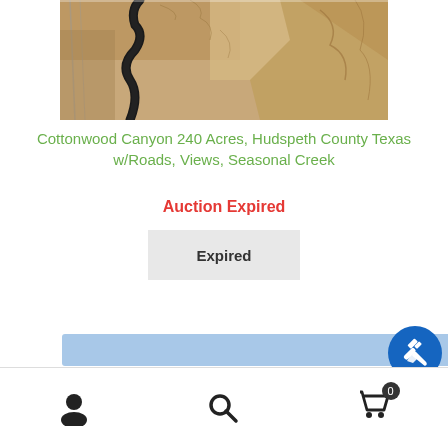[Figure (photo): Aerial satellite view of Cottonwood Canyon area in Hudspeth County Texas showing a winding seasonal creek through arid terrain with desert landscape and canyon features]
Cottonwood Canyon 240 Acres, Hudspeth County Texas w/Roads, Views, Seasonal Creek
Auction Expired
Expired
[Figure (other): Blue horizontal bar with gavel/auction icon button on right side]
Bottom navigation bar with user account icon, search icon, and shopping cart icon with badge showing 0